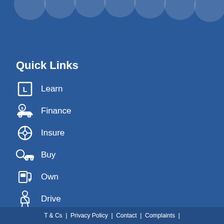[Figure (illustration): Decorative overlapping circles/bubbles in lighter blue at the top of the page]
Quick Links
Learn
Finance
Insure
Buy
Own
Drive
T & Cs  |  Privacy Policy  |  Contact  |  Complaints  |